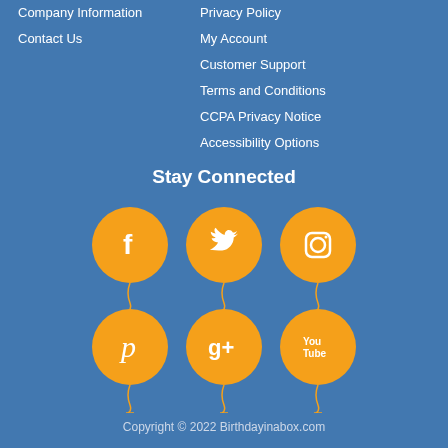Company Information
Contact Us
Privacy Policy
My Account
Customer Support
Terms and Conditions
CCPA Privacy Notice
Accessibility Options
Stay Connected
[Figure (illustration): Six orange balloon-shaped social media icons in two rows of three: Facebook, Twitter, Instagram (top row); Pinterest, Google+, YouTube (bottom row)]
Copyright © 2022 Birthdayinabox.com